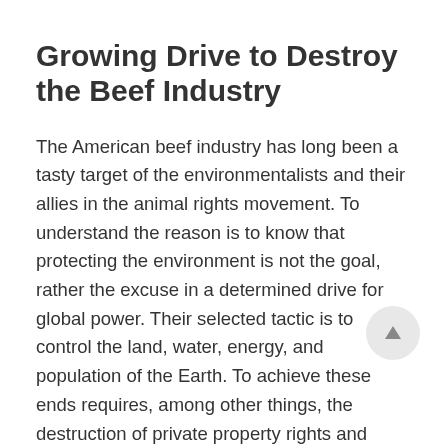Growing Drive to Destroy the Beef Industry
The American beef industry has long been a tasty target of the environmentalists and their allies in the animal rights movement. To understand the reason is to know that protecting the environment is not the goal, rather the excuse in a determined drive for global power. Their selected tactic is to control the land, water, energy, and population of the Earth. To achieve these ends requires, among other things, the destruction of private property rights and elimination of